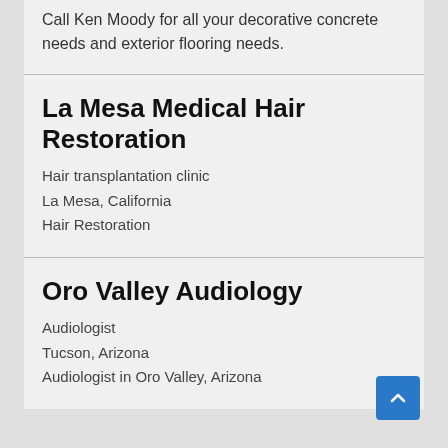Call Ken Moody for all your decorative concrete needs and exterior flooring needs.
La Mesa Medical Hair Restoration
Hair transplantation clinic
La Mesa, California
Hair Restoration
Oro Valley Audiology
Audiologist
Tucson, Arizona
Audiologist in Oro Valley, Arizona